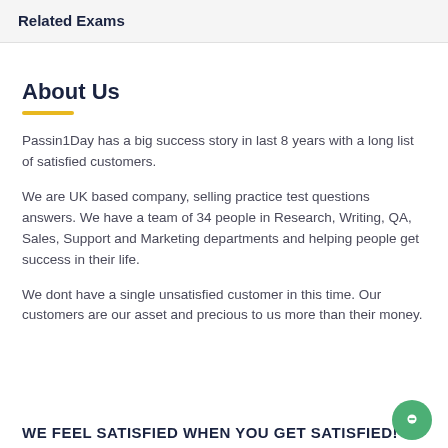Related Exams
About Us
Passin1Day has a big success story in last 8 years with a long list of satisfied customers.
We are UK based company, selling practice test questions answers. We have a team of 34 people in Research, Writing, QA, Sales, Support and Marketing departments and helping people get success in their life.
We dont have a single unsatisfied customer in this time. Our customers are our asset and precious to us more than their money.
WE FEEL SATISFIED WHEN YOU GET SATISFIED!